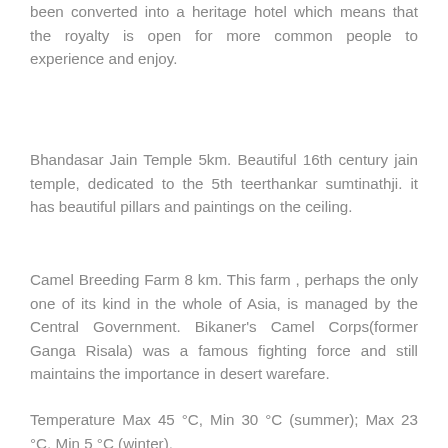been converted into a heritage hotel which means that the royalty is open for more common people to experience and enjoy.
Bhandasar Jain Temple 5km. Beautiful 16th century jain temple, dedicated to the 5th teerthankar sumtinathji. it has beautiful pillars and paintings on the ceiling.
Camel Breeding Farm 8 km. This farm , perhaps the only one of its kind in the whole of Asia, is managed by the Central Government. Bikaner's Camel Corps(former Ganga Risala) was a famous fighting force and still maintains the importance in desert warefare.
Temperature Max 45 °C, Min 30 °C (summer); Max 23 °C, Min 5 °C (winter).